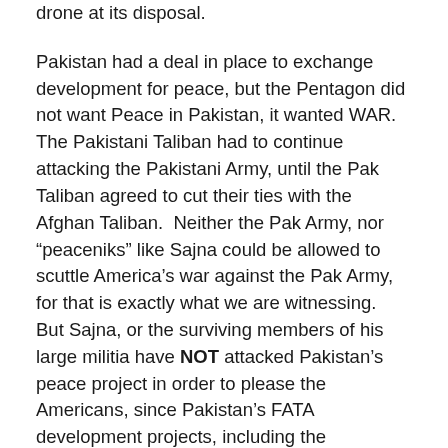drone at its disposal.
Pakistan had a deal in place to exchange development for peace, but the Pentagon did not want Peace in Pakistan, it wanted WAR.  The Pakistani Taliban had to continue attacking the Pakistani Army, until the Pak Taliban agreed to cut their ties with the Afghan Taliban.  Neither the Pak Army, nor “peaceniks” like Sajna could be allowed to scuttle America’s war against the Pak Army, for that is exactly what we are witnessing.  But Sajna, or the surviving members of his large militia have NOT attacked Pakistan’s peace project in order to please the Americans, since Pakistan’s FATA development projects, including the highways, were built with American money, along with matching funds from the UAE.
Yesterday’s attack upon the Army girls school was obviously an open attack, for that attack would kill if